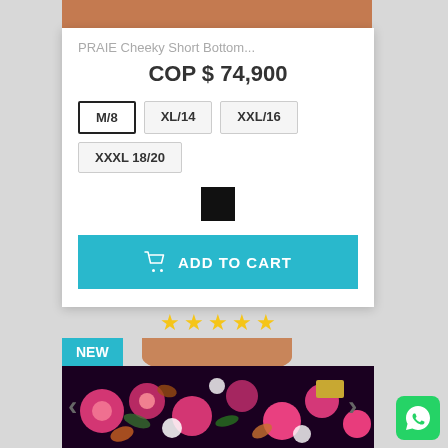[Figure (photo): Top portion of a swimwear product photo, cropped showing legs/feet area]
PRAIE Cheeky Short Bottom...
COP $ 74,900
M/8  XL/14  XXL/16  XXXL 18/20
[Figure (other): Black color swatch square]
ADD TO CART
[Figure (other): 4.5 star rating displayed with gold stars]
[Figure (photo): Product photo showing floral patterned swimwear bottom with NEW badge]
NEW